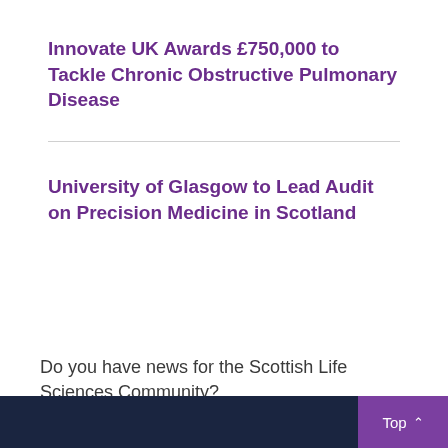Innovate UK Awards £750,000 to Tackle Chronic Obstructive Pulmonary Disease
University of Glasgow to Lead Audit on Precision Medicine in Scotland
Do you have news for the Scottish Life Sciences Community?
SUBMIT YOUR OWN NEWS
Top